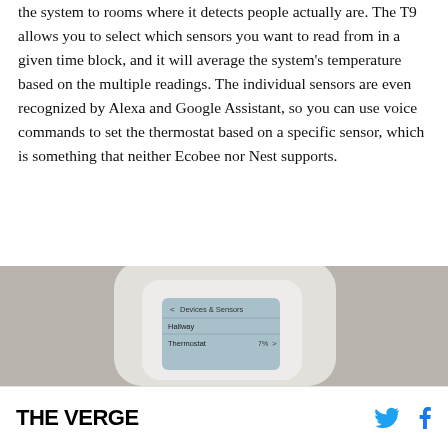the system to rooms where it detects people actually are. The T9 allows you to select which sensors you want to read from in a given time block, and it will average the system's temperature based on the multiple readings. The individual sensors are even recognized by Alexa and Google Assistant, so you can use voice commands to set the thermostat based on a specific sensor, which is something that neither Ecobee nor Nest supports.
[Figure (photo): Close-up photo of a white Honeywell Home T9 smart thermostat showing its display screen with 'Devices & Sensors' menu, Hallway, and Thermostat listed. The device is mounted on a light gray wall.]
THE VERGE